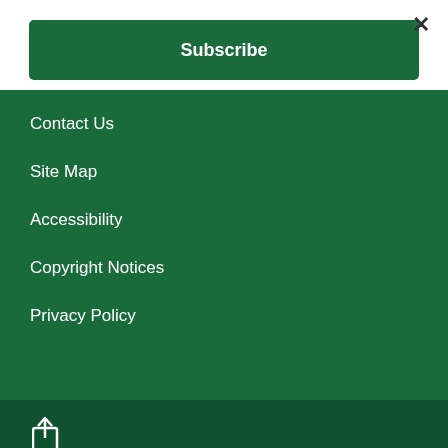×
Subscribe
Contact Us
Site Map
Accessibility
Copyright Notices
Privacy Policy
[Figure (illustration): Share icon (box with arrow pointing right)]
[Figure (illustration): Settings/gears icon (two overlapping gear wheels)]
[Figure (logo): CivicPlus logo (CP monogram in white)]
Government Websites by CivicPlus®